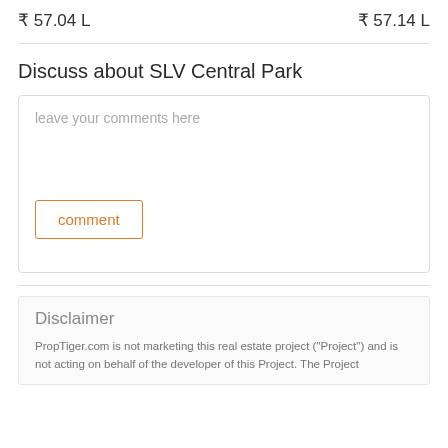₹ 57.04 L
₹ 57.14 L
Discuss about SLV Central Park
leave your comments here
comment
Disclaimer
PropTiger.com is not marketing this real estate project ("Project") and is not acting on behalf of the developer of this Project. The Project